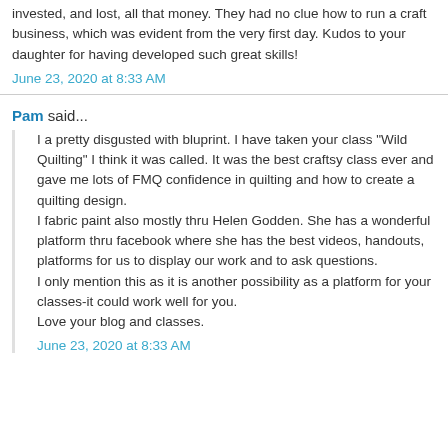invested, and lost, all that money. They had no clue how to run a craft business, which was evident from the very first day. Kudos to your daughter for having developed such great skills!
June 23, 2020 at 8:33 AM
Pam said...
I a pretty disgusted with bluprint. I have taken your class "Wild Quilting" I think it was called. It was the best craftsy class ever and gave me lots of FMQ confidence in quilting and how to create a quilting design.
I fabric paint also mostly thru Helen Godden. She has a wonderful platform thru facebook where she has the best videos, handouts, platforms for us to display our work and to ask questions.
I only mention this as it is another possibility as a platform for your classes-it could work well for you.
Love your blog and classes.
June 23, 2020 at 8:33 AM